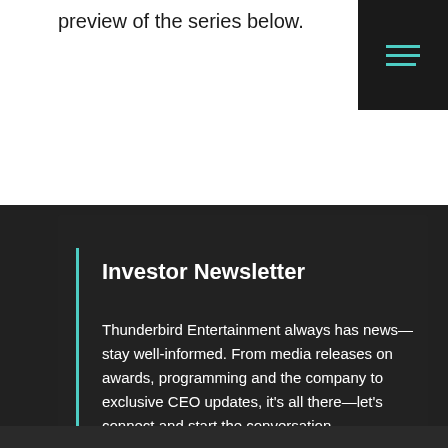preview of the series below.
Investor Newsletter
Thunderbird Entertainment always has news—stay well-informed. From media releases on awards, programming and the company to exclusive CEO updates, it's all there—let's connect and start the conversation.